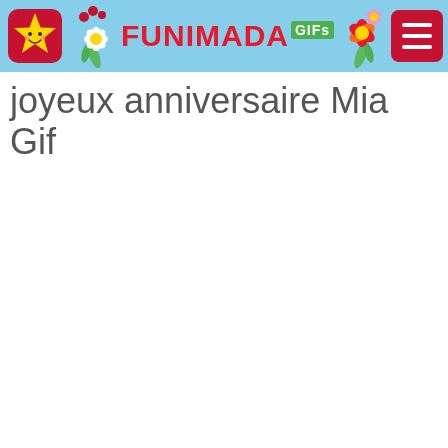FUNIMADA GIFs
joyeux anniversaire Mia Gif